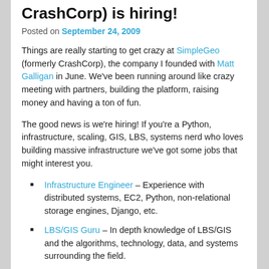CrashCorp) is hiring!
Posted on September 24, 2009
Things are really starting to get crazy at SimpleGeo (formerly CrashCorp), the company I founded with Matt Galligan in June. We've been running around like crazy meeting with partners, building the platform, raising money and having a ton of fun.
The good news is we're hiring! If you're a Python, infrastructure, scaling, GIS, LBS, systems nerd who loves building massive infrastructure we've got some jobs that might interest you.
Infrastructure Engineer – Experience with distributed systems, EC2, Python, non-relational storage engines, Django, etc.
LBS/GIS Guru – In depth knowledge of LBS/GIS and the algorithms, technology, data, and systems surrounding the field.